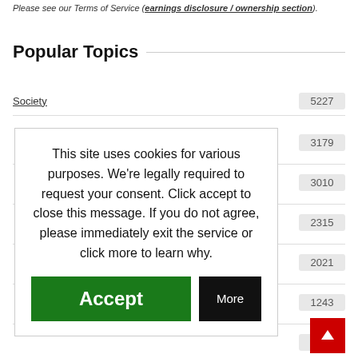Please see our Terms of Service (earnings disclosure / ownership section).
Popular Topics
Society 5227
3179
3010
2315
2021
1243
1064
This site uses cookies for various purposes. We're legally required to request your consent. Click accept to close this message. If you do not agree, please immediately exit the service or click more to learn why.